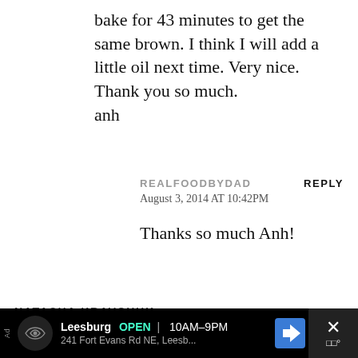bake for 43 minutes to get the same brown. I think I will add a little oil next time. Very nice. Thank you so much.
anh
REALFOODBYDAD
REPLY
August 3, 2014 AT 10:42PM
Thanks so much Anh!
NATASHA KRAVCHUK
REPLY
[Figure (screenshot): Advertisement bar at bottom showing Leesburg store with OPEN 10AM-9PM, address 241 Fort Evans Rd NE, Leesb... with navigation arrow icon and close button]